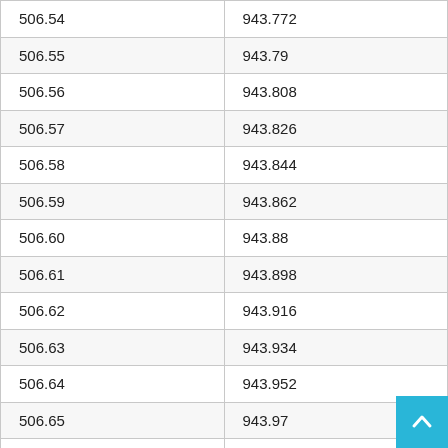| 506.54 | 943.772 |
| 506.55 | 943.79 |
| 506.56 | 943.808 |
| 506.57 | 943.826 |
| 506.58 | 943.844 |
| 506.59 | 943.862 |
| 506.60 | 943.88 |
| 506.61 | 943.898 |
| 506.62 | 943.916 |
| 506.63 | 943.934 |
| 506.64 | 943.952 |
| 506.65 | 943.97 |
| 506.66 | 943.988 |
| 506.67 | 944.006 |
| 506.68 | 944.024 |
| 506.69 | 944.042 |